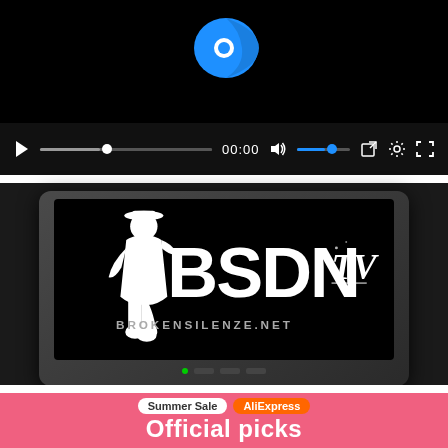[Figure (screenshot): Video player with black background, blue play icon/logo at top center, playback controls bar at bottom with play button, progress bar, time display showing 00:00, volume control, and other icons]
[Figure (screenshot): BSDN TV logo on a television screen set against dark background. The screen shows 'BSDN' in large white bold letters with 'TV' in stylized script, a silhouette of a person, and 'BROKENSILENZE.NET' text below]
[Figure (infographic): AliExpress Summer Sale advertisement with pink/coral background showing 'Summer Sale' badge, 'AliExpress' orange badge, and 'Official picks' text in white bold letters]